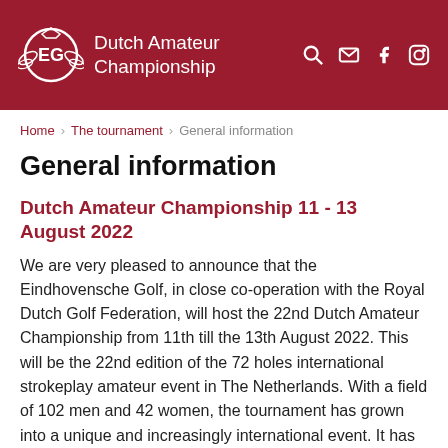Dutch Amateur Championship
Home > The tournament > General information
General information
Dutch Amateur Championship 11 - 13 August 2022
We are very pleased to announce that the Eindhovensche Golf, in close co-operation with the Royal Dutch Golf Federation, will host the 22nd Dutch Amateur Championship from 11th till the 13th August 2022. This will be the 22nd edition of the 72 holes international strokeplay amateur event in The Netherlands. With a field of 102 men and 42 women, the tournament has grown into a unique and increasingly international event. It has been part of